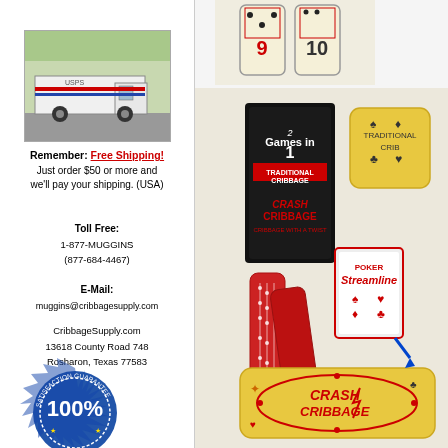[Figure (photo): USPS mail truck on a residential street]
Remember: Free Shipping! Just order $50 or more and we'll pay your shipping. (USA)
Toll Free: 1-877-MUGGINS (877-684-4467)
E-Mail: muggins@cribbagesupply.com
CribbageSupply.com 13618 County Road 748 Rosharon, Texas 77583
[Figure (photo): 100% Satisfaction Guarantee seal badge]
[Figure (photo): Cribbage game product tiles at top right]
[Figure (photo): Crash Cribbage 2-in-1 game product photo with cards and boards]